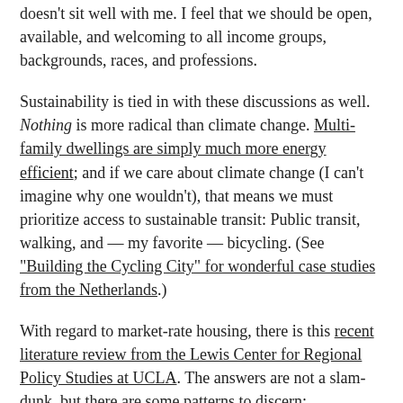doesn't sit well with me. I feel that we should be open, available, and welcoming to all income groups, backgrounds, races, and professions.
Sustainability is tied in with these discussions as well. Nothing is more radical than climate change. Multi-family dwellings are simply much more energy efficient; and if we care about climate change (I can't imagine why one wouldn't), that means we must prioritize access to sustainable transit: Public transit, walking, and — my favorite — bicycling. (See "Building the Cycling City" for wonderful case studies from the Netherlands.)
With regard to market-rate housing, there is this recent literature review from the Lewis Center for Regional Policy Studies at UCLA. The answers are not a slam-dunk, but there are some patterns to discern:
Key Takeaways: